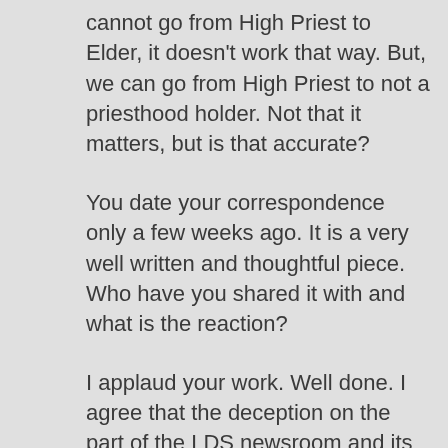cannot go from High Priest to Elder, it doesn't work that way. But, we can go from High Priest to not a priesthood holder. Not that it matters, but is that accurate?
You date your correspondence only a few weeks ago. It is a very well written and thoughtful piece. Who have you shared it with and what is the reaction?
I applaud your work. Well done. I agree that the deception on the part of the LDS newsroom and its Elders is a travesty. At the time of the Washington Post article which quoted and highlighted the